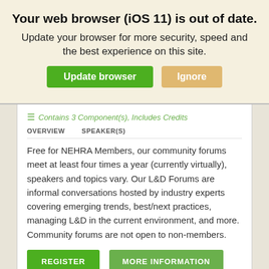Your web browser (iOS 11) is out of date.
Update your browser for more security, speed and the best experience on this site.
Contains 3 Component(s), Includes Credits
OVERVIEW    SPEAKER(S)
Free for NEHRA Members, our community forums meet at least four times a year (currently virtually), speakers and topics vary. Our L&D Forums are informal conversations hosted by industry experts covering emerging trends, best/next practices, managing L&D in the current environment, and more. Community forums are not open to non-members.
REGISTER    MORE INFORMATION